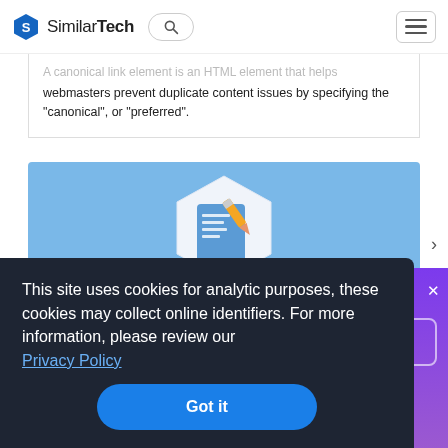SimilarTech
webmasters prevent duplicate content issues by specifying the "canonical", or "preferred".
[Figure (screenshot): Blue card with a hexagon icon showing a document/form with a pencil, representing a web technology tool]
This site uses cookies for analytic purposes, these cookies may collect online identifiers. For more information, please review our Privacy Policy
Got it